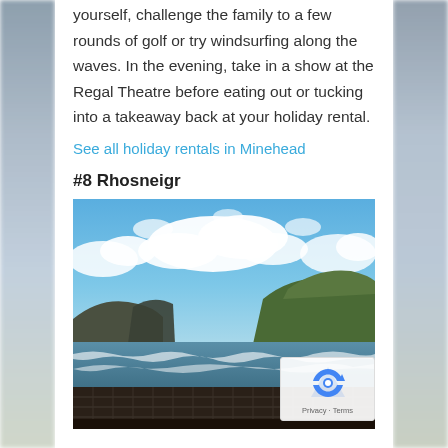yourself, challenge the family to a few rounds of golf or try windsurfing along the waves. In the evening, take in a show at the Regal Theatre before eating out or tucking into a takeaway back at your holiday rental.
See all holiday rentals in Minehead
#8 Rhosneigr
[Figure (photo): Coastal scene showing rocky headlands, ocean waves, a harbour wall/slipway in the foreground, and a dramatic sky with blue sky and white clouds over Rhosneigr]